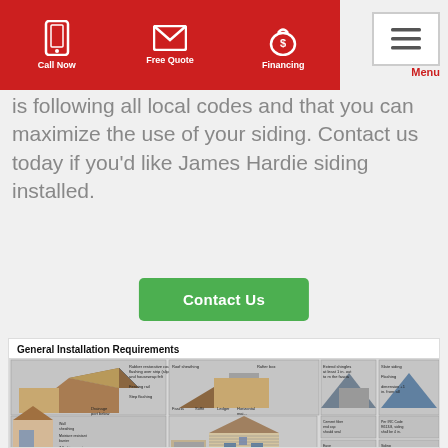Call Now | Free Quote | Financing | Menu
is following all local codes and that you can maximize the use of your siding. Contact us today if you'd like James Hardie siding installed.
[Figure (other): Green 'Contact Us' button]
[Figure (engineering-diagram): General Installation Requirements diagram showing house cross-sections and siding installation details with labeled callouts]